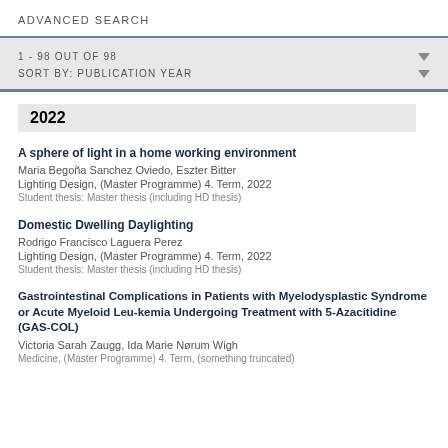ADVANCED SEARCH
1 - 98 OUT OF 98
SORT BY: PUBLICATION YEAR
2022
A sphere of light in a home working environment
Maria Begoña Sanchez Oviedo, Eszter Bitter
Lighting Design, (Master Programme) 4. Term, 2022
Student thesis: Master thesis (including HD thesis)
Domestic Dwelling Daylighting
Rodrigo Francisco Laguera Perez
Lighting Design, (Master Programme) 4. Term, 2022
Student thesis: Master thesis (including HD thesis)
Gastrointestinal Complications in Patients with Myelodysplastic Syndrome or Acute Myeloid Leu-kemia Undergoing Treatment with 5-Azacitidine (GAS-COL)
Victoria Sarah Zaugg, Ida Marie Nørum Wigh
Medicine, (Master Programme) 4. Term, (something truncated)